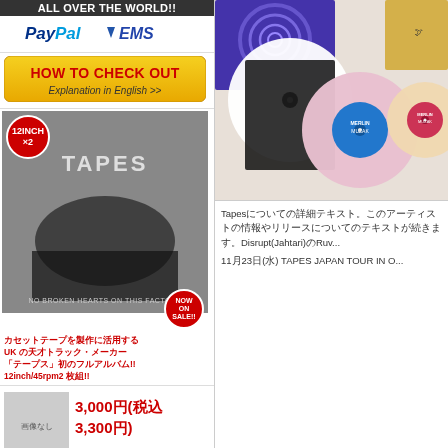ALL OVER THE WORLD!! PayPal EMS
[Figure (infographic): HOW TO CHECK OUT button - Explanation in English >>]
[Figure (photo): Black and white album art for TAPES - 12INCH x2 album, 45rpm, NO BROKEN HEARTS ON THIS FACTORY, NOW ON SALE badge]
カセットテープを製作に活用する UK の天才トラック・メーカー 「テープス」初のフルアルバム!! 12inch/45rpm2 枚組!!
3,000円(税込 3,300円)
CORNER STONE BLOG
[Figure (photo): Vinyl records and 7-inch singles from Merlin Muzak label, white and colored vinyl]
Tapesについての詳細テキスト...Disrupt(Jahtari)のRuv...
11月23日(水) TAPES JAPAN TOUR IN O...